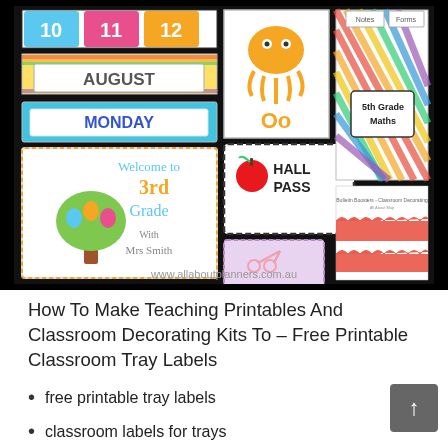[Figure (illustration): Colorful classroom decorating printables collage showing calendar items (AUGUST, MONDAY, numbers 10 11 12), an alphabet card (Oo with octopus), a Hall Pass card with apple, Welcome to 3rd Grade sign with owls on a tree, Scissors label, 5th Grade Maths binder cover with rainbow stripes, bulletin board borders in red, and website www.allaboutplanners.com.au at the bottom.]
How To Make Teaching Printables And Classroom Decorating Kits To – Free Printable Classroom Tray Labels
free printable tray labels
classroom labels for trays